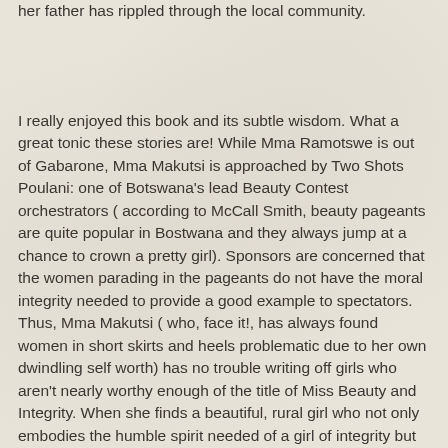her father has rippled through the local community.
I really enjoyed this book and its subtle wisdom. What a great tonic these stories are! While Mma Ramotswe is out of Gabarone, Mma Makutsi is approached by Two Shots Poulani: one of Botswana's lead Beauty Contest orchestrators ( according to McCall Smith, beauty pageants are quite popular in Bostwana and they always jump at a chance to crown a pretty girl). Sponsors are concerned that the women parading in the pageants do not have the moral integrity needed to provide a good example to spectators. Thus, Mma Makutsi ( who, face it!, has always found women in short skirts and heels problematic due to her own dwindling self worth) has no trouble writing off girls who aren't nearly worthy enough of the title of Miss Beauty and Integrity. When she finds a beautiful, rural girl who not only embodies the humble spirit needed of a girl of integrity but wants to attend the Botswana Secretarial College, Mma Makutsi finds herself rooting for a beauty contest contestant. All in all a charmingly wonderful story.